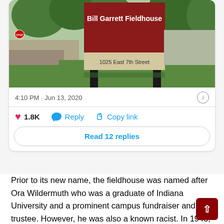[Figure (photo): Photo of the Bill Garrett Fieldhouse sign, a large dark red/maroon sign on two black posts reading 'Bill Garrett Fieldhouse' with '1025 East 7th Street' below, surrounded by green grass and trees.]
4:10 PM · Jun 13, 2020
1.8K  Reply  Copy link
Read 12 replies
Prior to its new name, the fieldhouse was named after Ora Wildermuth who was a graduate of Indiana University and a prominent campus fundraiser and IU trustee. However, he was also a known racist. In 1945, he wrote ""I am and shall always remain absolutely and utterly opposed to social intermingling of the colored race with the White.""